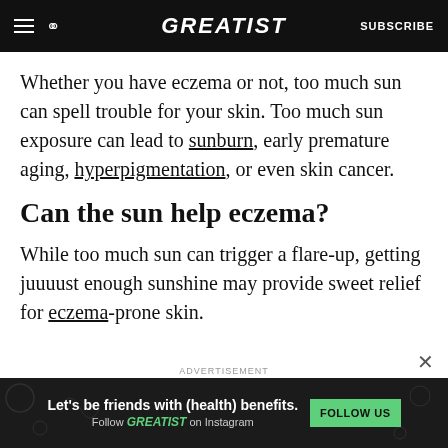GREATIST | SUBSCRIBE
Whether you have eczema or not, too much sun can spell trouble for your skin. Too much sun exposure can lead to sunburn, early premature aging, hyperpigmentation, or even skin cancer.
Can the sun help eczema?
While too much sun can trigger a flare-up, getting juuuust enough sunshine may provide sweet relief for eczema-prone skin.
ADVERTISEMENT
[Figure (other): Advertisement banner: Let's be friends with (health) benefits. Follow GREATIST on Instagram. FOLLOW US button.]